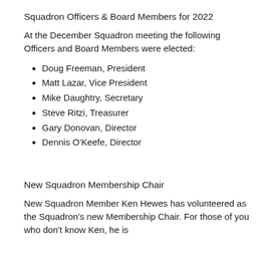Squadron Officers & Board Members for 2022
At the December Squadron meeting the following Officers and Board Members were elected:
Doug Freeman, President
Matt Lazar, Vice President
Mike Daughtry, Secretary
Steve Ritzi, Treasurer
Gary Donovan, Director
Dennis O'Keefe, Director
New Squadron Membership Chair
New Squadron Member Ken Hewes has volunteered as the Squadron's new Membership Chair. For those of you who don't know Ken, he is